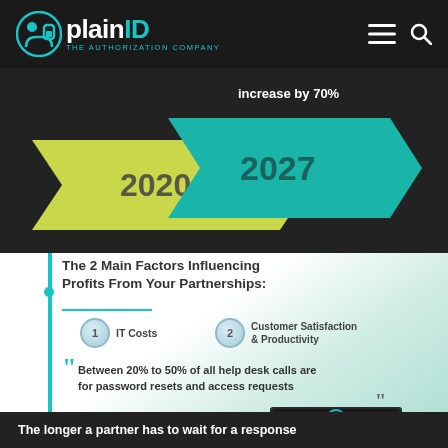plainID - The Authorization Company
[Figure (infographic): Arrow diagram showing increase by 70% from 2020 to 2027, with two chevron arrows on dark background]
The 2 Main Factors Influencing Profits From Your Partnerships:
1 IT Costs
2 Customer Satisfaction & Productivity
Between 20% to 50% of all help desk calls are for password resets and access requests
[Figure (illustration): Grid of teal dollar signs representing password reset costs]
[Figure (illustration): Monitor icon with lock/key symbol representing password security]
Recent surveys show that it costs $72 on average to reset a password
The longer a partner has to wait for a response